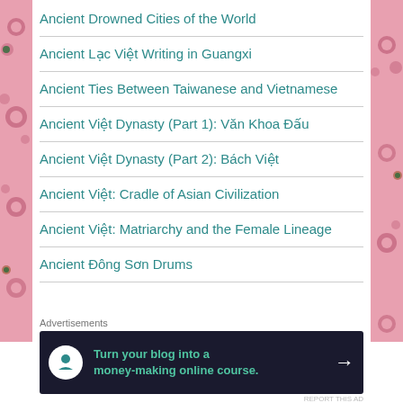Ancient Drowned Cities of the World
Ancient Lạc Việt Writing in Guangxi
Ancient Ties Between Taiwanese and Vietnamese
Ancient Việt Dynasty (Part 1): Văn Khoa Đấu
Ancient Việt Dynasty (Part 2): Bách Việt
Ancient Việt: Cradle of Asian Civilization
Ancient Việt: Matriarchy and the Female Lineage
Ancient Đông Sơn Drums
Advertisements
[Figure (infographic): Advertisement banner: 'Turn your blog into a money-making online course.' with arrow on dark background]